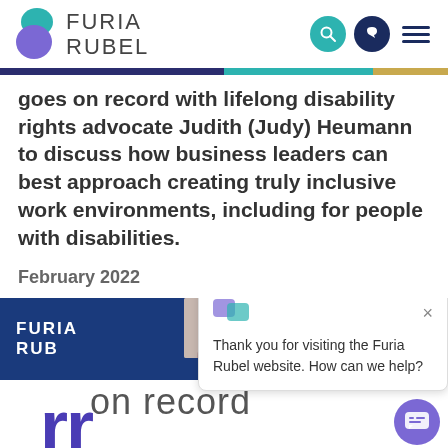[Figure (logo): Furia Rubel logo with teal and purple overlapping shapes and company name]
goes on record with lifelong disability rights advocate Judith (Judy) Heumann to discuss how business leaders can best approach creating truly inclusive work environments, including for people with disabilities.
February 2022
[Figure (screenshot): Chat popup widget saying 'Thank you for visiting the Furia Rubel website. How can we help?' with close button and chat icon]
[Figure (illustration): Furia Rubel branding banner with 'on record' text and large purple letters at bottom, plus a chat FAB button]